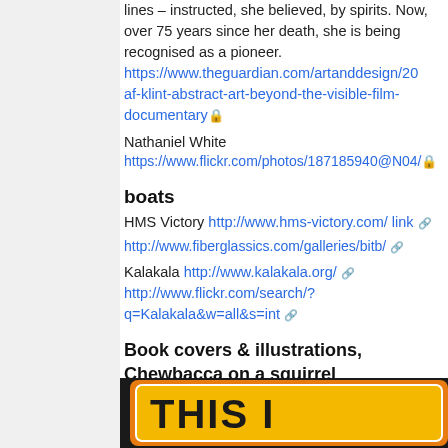lines – instructed, she believed, by spirits. Now, over 75 years since her death, she is being recognised as a pioneer. https://www.theguardian.com/artanddesign/20... af-klint-abstract-art-beyond-the-visible-film-documentary 🔒
Nathaniel White https://www.flickr.com/photos/187185940@N04/ 🔒
boats
HMS Victory http://www.hms-victory.com/ link 🔗
http://www.fiberglassics.com/galleries/bitb/ 🔗
Kalakala http://www.kalakala.org/ 🔗 http://www.flickr.com/search/?q=Kalakala&w=all&s=int 🔗
Book covers & illustrations, Chewbacca on a squirrel
[Figure (photo): Bottom portion of a book cover with orange/yellow badge shape and bold text reading 'THIS I...' on dark background]